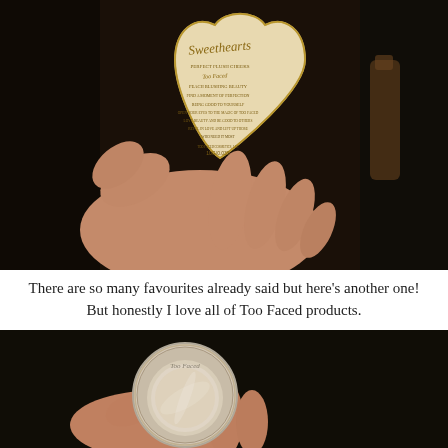[Figure (photo): A hand holding the back of a heart-shaped Too Faced Sweethearts compact, showing gold text and product information on the back, photographed in low-light conditions.]
There are so many favourites already said but here's another one! But honestly I love all of Too Faced products.
[Figure (photo): A hand holding a round Too Faced highlighter/eyeshadow compact, partially visible at the bottom of the frame, in a dark setting.]